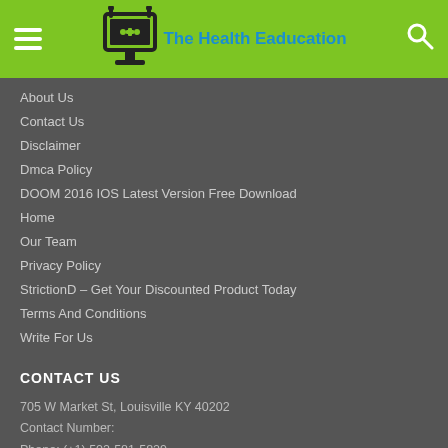The Health Eaducation
About Us
Contact Us
Disclaimer
Dmca Policy
DOOM 2016 IOS Latest Version Free Download
Home
Our Team
Privacy Policy
StrictionD – Get Your Discounted Product Today
Terms And Conditions
Write For Us
CONTACT US
705 W Market St, Louisville KY 40202
Contact Number:
Phone: (+1) 502-581-5829
General, Editorial and Technical Enquiries:
thehealtheaducation@gmail.com